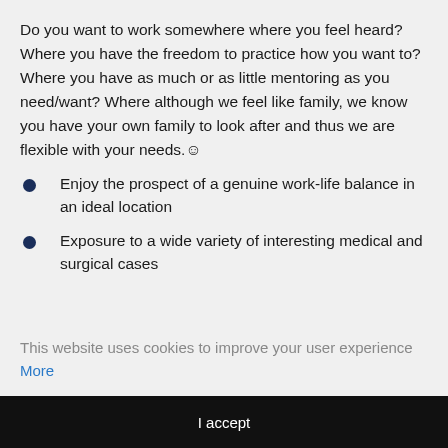Do you want to work somewhere where you feel heard? Where you have the freedom to practice how you want to? Where you have as much or as little mentoring as you need/want? Where although we feel like family, we know you have your own family to look after and thus we are flexible with your needs.☺
Enjoy the prospect of a genuine work-life balance in an ideal location
Exposure to a wide variety of interesting medical and surgical cases
This website uses cookies to improve your user experience More
I accept